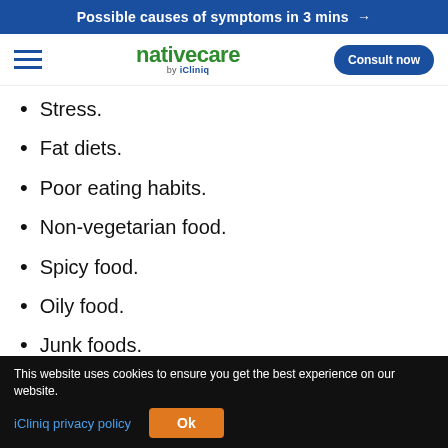Possible causes of symptoms in 3 mins →
[Figure (logo): nativecare by iCliniq logo with hamburger menu and Consult now button]
Stress.
Fat diets.
Poor eating habits.
Non-vegetarian food.
Spicy food.
Oily food.
Junk foods.
This website uses cookies to ensure you get the best experience on our website. iCliniq privacy policy  Ok